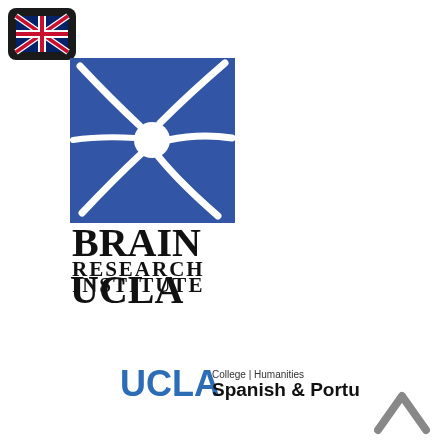[Figure (logo): UK flag icon in a dark rounded rectangle in the top-left corner]
[Figure (logo): Brain Research Institute UCLA logo: blue square with white neuron silhouette above the text BRAIN RESEARCH INSTITUTE UCLA in black serif font]
[Figure (logo): UCLA College | Humanities Spanish & Portuguese logo: blue UCLA text followed by College | Humanities in small sans-serif and Spanish & Portuguese in larger bold sans-serif]
[Figure (other): Dark grey upward-pointing chevron/caret icon in the bottom-right corner]